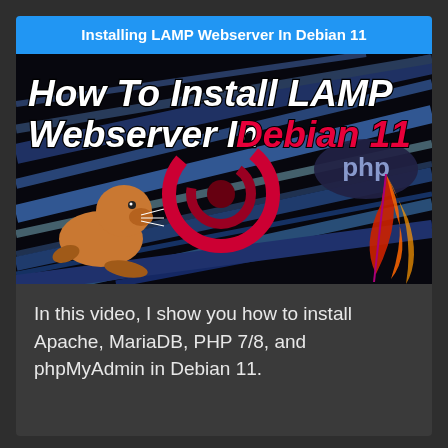Installing LAMP Webserver In Debian 11
[Figure (screenshot): Thumbnail image showing 'How To Install LAMP Webserver In Debian 11' title text in white and red on a dark background with speed lines, featuring logos of MySQL (sea lion), Debian (swirl), PHP, and Apache (feather).]
In this video, I show you how to install Apache, MariaDB, PHP 7/8, and phpMyAdmin in Debian 11.